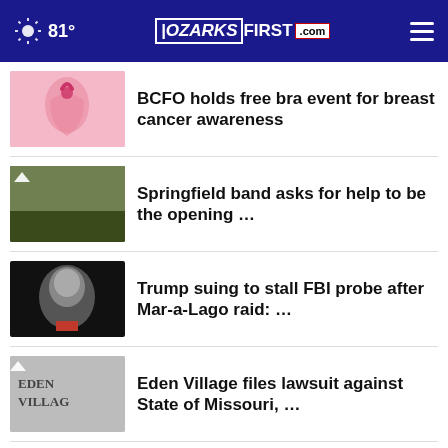81° OZARKSFIRST.com
BCFO holds free bra event for breast cancer awareness
Springfield band asks for help to be the opening …
Trump suing to stall FBI probe after Mar-a-Lago raid: …
Eden Village files lawsuit against State of Missouri, …
Texas university offers course on Taylor Swift
More Stories ▸